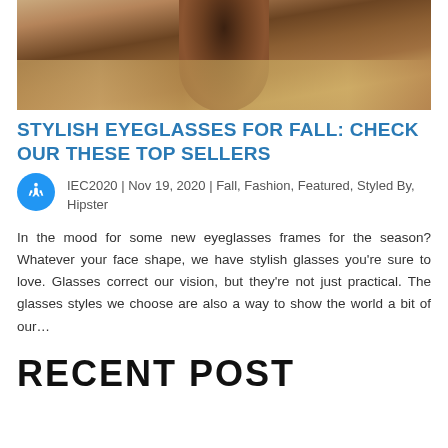[Figure (photo): Woman in rust/brown knit sweater standing in a field with tall dried grasses, wearing a dark hat, photographed from torso up]
STYLISH EYEGLASSES FOR FALL: CHECK OUR THESE TOP SELLERS
IEC2020 | Nov 19, 2020 | Fall, Fashion, Featured, Styled By, Hipster
In the mood for some new eyeglasses frames for the season? Whatever your face shape, we have stylish glasses you're sure to love. Glasses correct our vision, but they're not just practical. The glasses styles we choose are also a way to show the world a bit of our…
RECENT POST